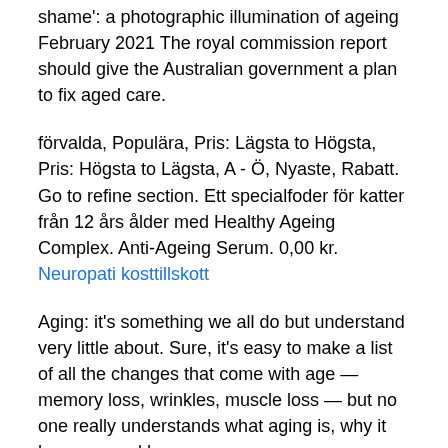shame': a photographic illumination of ageing February 2021 The royal commission report should give the Australian government a plan to fix aged care.
förvalda, Populära, Pris: Lägsta to Högsta, Pris: Högsta to Lägsta, A - Ö, Nyaste, Rabatt. Go to refine section. Ett specialfoder för katter från 12 års ålder med Healthy Ageing Complex. Anti-Ageing Serum. 0,00 kr.
Neuropati kosttillskott
Aging: it's something we all do but understand very little about. Sure, it's easy to make a list of all the changes that come with age — memory loss, wrinkles, muscle loss — but no one really understands what aging is, why it happens and how